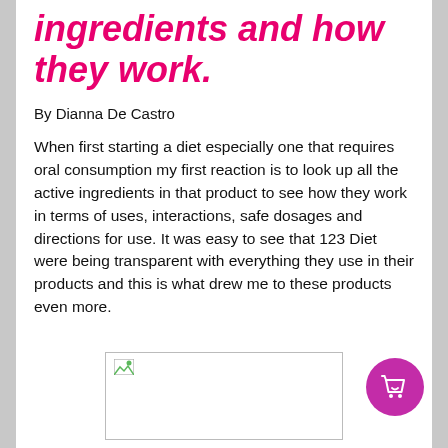ingredients and how they work.
By Dianna De Castro
When first starting a diet especially one that requires oral consumption my first reaction is to look up all the active ingredients in that product to see how they work in terms of uses, interactions, safe dosages and directions for use. It was easy to see that 123 Diet were being transparent with everything they use in their products and this is what drew me to these products even more.
[Figure (photo): Image placeholder with broken image icon in top-left corner]